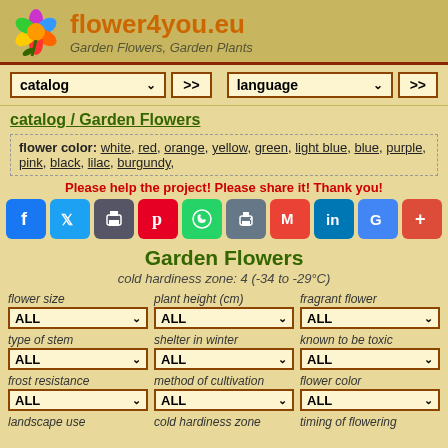flower4you.eu — Garden Flowers, Garden Plants
catalog >> | language >>
catalog / Garden Flowers
flower color: white, red, orange, yellow, green, light blue, blue, purple, pink, black, lilac, burgundy,
Please help the project! Please share it! Thank you!
[Figure (infographic): Social media sharing buttons: Facebook, Twitter, printer, Pinterest, WhatsApp, print, Gmail, LinkedIn, Google, Google+]
Garden Flowers
cold hardiness zone: 4 (-34 to -29°C)
flower size / ALL dropdown
plant height (cm) / ALL dropdown
fragrant flower / ALL dropdown
type of stem / ALL dropdown
shelter in winter / ALL dropdown
known to be toxic / ALL dropdown
frost resistance / ALL dropdown
method of cultivation / ALL dropdown
flower color / ALL dropdown
landscape use
cold hardiness zone
timing of flowering